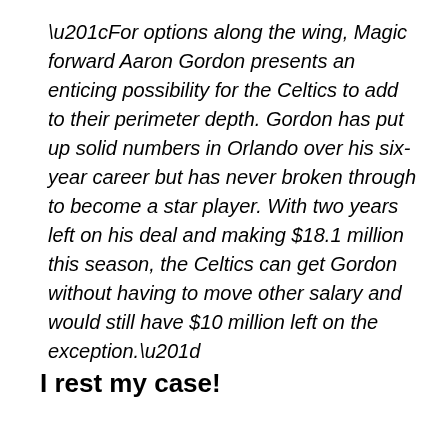“For options along the wing, Magic forward Aaron Gordon presents an enticing possibility for the Celtics to add to their perimeter depth. Gordon has put up solid numbers in Orlando over his six-year career but has never broken through to become a star player. With two years left on his deal and making $18.1 million this season, the Celtics can get Gordon without having to move other salary and would still have $10 million left on the exception.”
I rest my case!